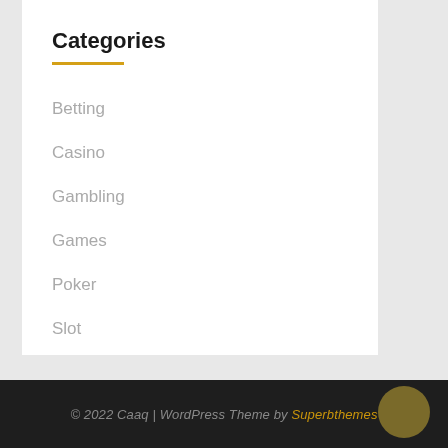Categories
Betting
Casino
Gambling
Games
Poker
Slot
Virutal Money
© 2022 Caaq | WordPress Theme by Superbthemes